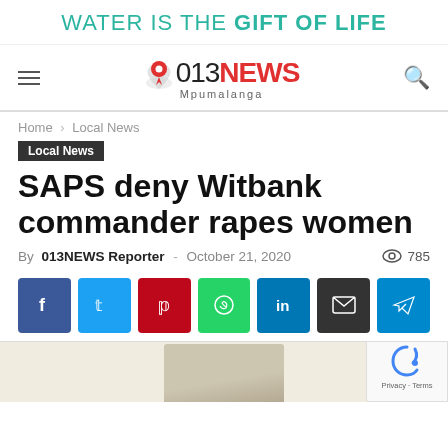WATER IS THE GIFT OF LIFE
[Figure (logo): 013NEWS Mpumalanga logo with red location pin icon and map silhouette]
Home › Local News
Local News
SAPS deny Witbank commander rapes women
By 013NEWS Reporter - October 21, 2020  785
[Figure (infographic): Social share buttons: Facebook, Twitter, Pinterest, WhatsApp, LinkedIn, Email, Telegram]
[Figure (photo): Partial photo of a person wearing a uniform cap, cropped at bottom of page]